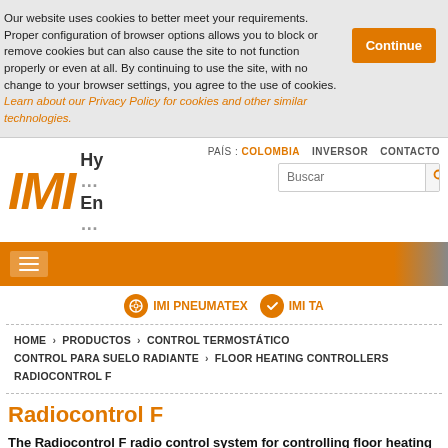Our website uses cookies to better meet your requirements. Proper configuration of browser options allows you to block or remove cookies but can also cause the site to not function properly or even at all. By continuing to use the site, with no change to your browser settings, you agree to the use of cookies. Learn about our Privacy Policy for cookies and other similar technologies.
[Figure (logo): IMI Hydronic Engineering logo - IMI in large orange italic letters with Hy and Eng text beside]
PAÍS : COLOMBIA   INVERSOR   CONTACTO
[Figure (screenshot): Orange navigation bar with hamburger menu icon]
IMI PNEUMATEX   IMI TA
HOME > PRODUCTOS > CONTROL TERMOSTÁTICO CONTROL PARA SUELO RADIANTE > FLOOR HEATING CONTROLLERS RADIOCONTROL F
Radiocontrol F
The Radiocontrol F radio control system for controlling floor heating systems in individual rooms consists of a microprocessor-controlled central unit and an appropriate number of room transmitters. No cables are required between the room transmitters